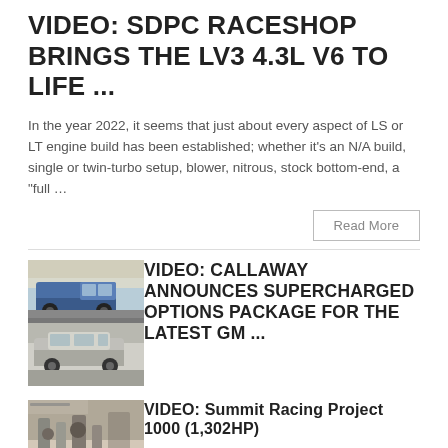VIDEO: SDPC RACESHOP BRINGS THE LV3 4.3L V6 TO LIFE ...
In the year 2022, it seems that just about every aspect of LS or LT engine build has been established; whether it’s an N/A build, single or twin-turbo setup, blower, nitrous, stock bottom-end, a “full …
Read More
[Figure (photo): Thumbnail image showing GM trucks/SUVs, a collage of vehicles]
VIDEO: CALLAWAY ANNOUNCES SUPERCHARGED OPTIONS PACKAGE FOR THE LATEST GM ...
[Figure (photo): Thumbnail image showing racing/engine scene]
VIDEO: Summit Racing Project 1000 (1,302HP)